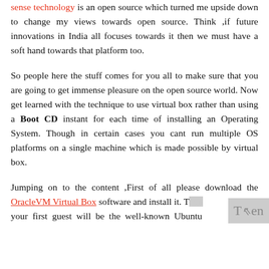sense technology is an open source which turned me upside down to change my views towards open source. Think ,if future innovations in India all focuses towards it then we must have a soft hand towards that platform too.
So people here the stuff comes for you all to make sure that you are going to get immense pleasure on the open source world. Now get learned with the technique to use virtual box rather than using a Boot CD instant for each time of installing an Operating System. Though in certain cases you cant run multiple OS platforms on a single machine which is made possible by virtual box.
Jumping on to the content ,First of all please download the OracleVM Virtual Box software and install it. Then your first guest will be the well known Ubuntu